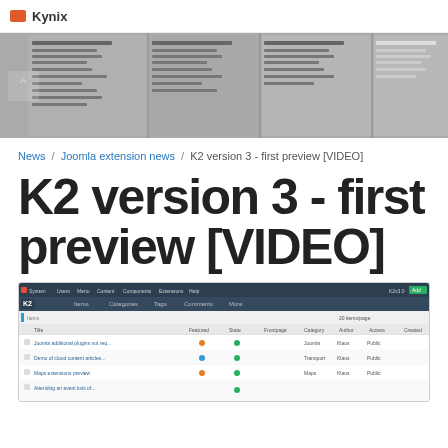Kynix
[Figure (screenshot): Banner advertisement area with camouflage/military themed product images and text listings on gray background]
News / Joomla extension news / K2 version 3 - first preview [VIDEO]
K2 version 3 - first preview [VIDEO]
[Figure (screenshot): Screenshot of K2 Joomla extension admin panel showing items list with columns for title, featured, state, frontpage, category, author, access, created, modified, hits, and language]